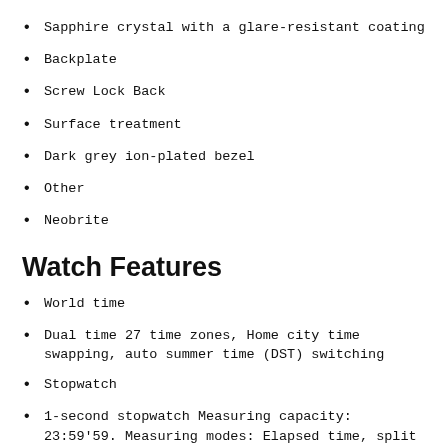Sapphire crystal with a glare-resistant coating
Backplate
Screw Lock Back
Surface treatment
Dark grey ion-plated bezel
Other
Neobrite
Watch Features
World time
Dual time 27 time zones, Home city time swapping, auto summer time (DST) switching
Stopwatch
1-second stopwatch Measuring capacity: 23:59'59. Measuring modes: Elapsed time, split time
Timer